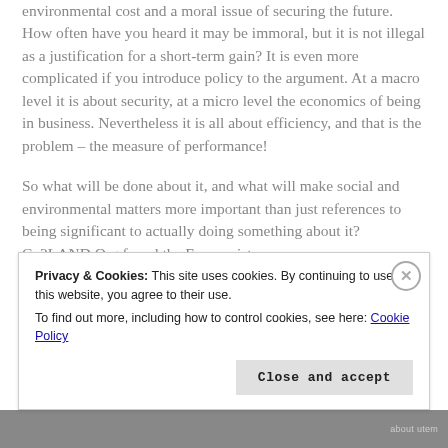environmental cost and a moral issue of securing the future. How often have you heard it may be immoral, but it is not illegal as a justification for a short-term gain? It is even more complicated if you introduce policy to the argument. At a macro level it is about security, at a micro level the economics of being in business. Nevertheless it is all about efficiency, and that is the problem – the measure of performance!
So what will be done about it, and what will make social and environmental matters more important than just references to being significant to actually doing something about it? Co2LAND Org found the Economist
Privacy & Cookies: This site uses cookies. By continuing to use this website, you agree to their use.
To find out more, including how to control cookies, see here: Cookie Policy
Close and accept
about utem